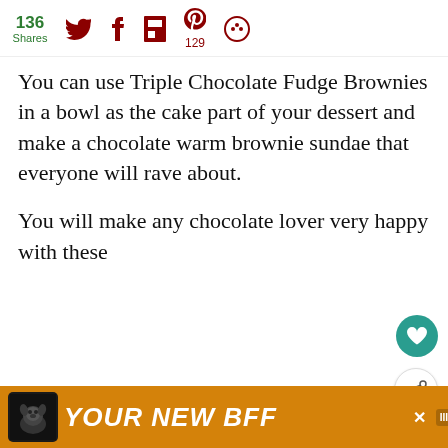136 Shares | Twitter | Facebook | Flipboard | Pinterest 129 | More
You can use Triple Chocolate Fudge Brownies in a bowl as the cake part of your dessert and make a chocolate warm brownie sundae that everyone will rave about.
You will make any chocolate lover very happy with these
[Figure (photo): Photo of brownies in a baking pan, partially visible at the bottom of the page]
WHAT'S NEXT → Crockpot Brownie...
PRINT
[Figure (photo): Advertisement bar at bottom: orange background with dog silhouette and text 'YOUR NEW BFF']